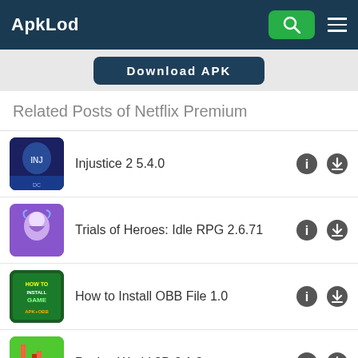ApkLod
[Figure (screenshot): Download APK button in dark navy blue]
Related Posts of Netflix Premium
Injustice 2 5.4.0
Trials of Heroes: Idle RPG 2.6.71
How to Install OBB File 1.0
Pocket World 3D 2.1.9
Dollify 1.3.8
Mini Music & Beat Video Maker 0.19.101